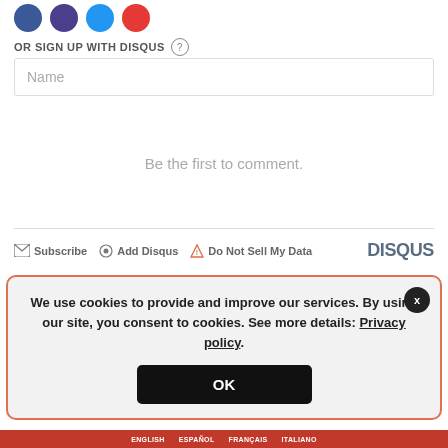[Figure (other): Social login icons: blue Facebook, dark purple, light blue, red circles]
OR SIGN UP WITH DISQUS (?)
Name
Be the first to comment.
Subscribe  Add Disqus  Do Not Sell My Data  DISQUS
We use cookies to provide and improve our services. By using our site, you consent to cookies. See more details: Privacy policy.
OK